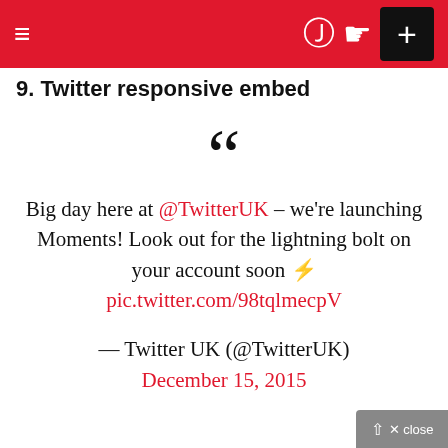≡   ⦿ 🌙   +
9. Twitter responsive embed
❝ Big day here at @TwitterUK – we're launching Moments! Look out for the lightning bolt on your account soon ⚡ pic.twitter.com/98tqlmecpV
— Twitter UK (@TwitterUK) December 15, 2015